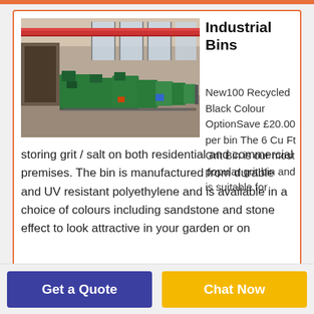[Figure (photo): Interior of an industrial warehouse or factory floor with green machinery and overhead cranes]
Industrial Bins
New100 Recycled Black Colour OptionSave £20.00 per bin The 6 Cu Ft Grit Bin is our most popular grit bin and is suitable for storing grit / salt on both residential and commercial premises. The bin is manufactured from durable and UV resistant polyethylene and is available in a choice of colours including sandstone and stone effect to look attractive in your garden or on